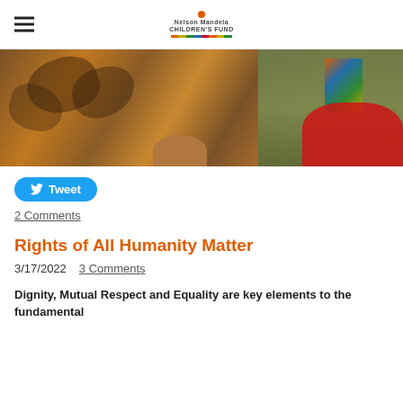Nelson Mandela Children's Fund logo and hamburger menu
[Figure (photo): Close-up photo of a person wearing a brown and orange patterned fabric, with a green garment and red fluffy item and a colorful gift bag visible in the background.]
Tweet
2 Comments
Rights of All Humanity Matter
3/17/2022   3 Comments
Dignity, Mutual Respect and Equality are key elements to the fundamental